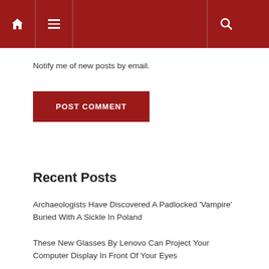[Navigation bar with home icon, hamburger menu, and search icon]
Notify me of new posts by email.
POST COMMENT
Recent Posts
Archaeologists Have Discovered A Padlocked 'Vampire' Buried With A Sickle In Poland
These New Glasses By Lenovo Can Project Your Computer Display In Front Of Your Eyes
The U.S And China Are Looking At The Same Moon Landing Site – And Things Could Get Awkward